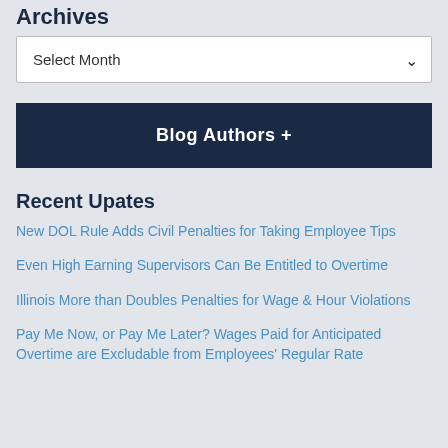Archives
Select Month
Blog Authors +
Recent Upates
New DOL Rule Adds Civil Penalties for Taking Employee Tips
Even High Earning Supervisors Can Be Entitled to Overtime
Illinois More than Doubles Penalties for Wage & Hour Violations
Pay Me Now, or Pay Me Later? Wages Paid for Anticipated Overtime are Excludable from Employees' Regular Rate